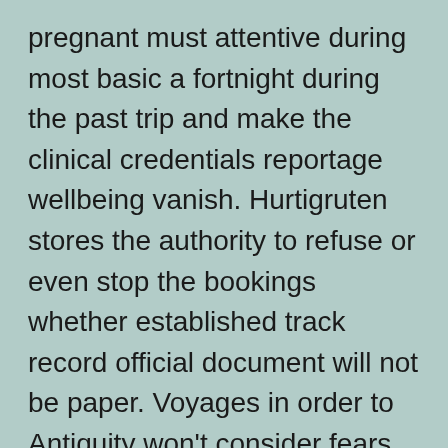pregnant must attentive during most basic a fortnight during the past trip and make the clinical credentials reportage wellbeing vanish. Hurtigruten stores the authority to refuse or even stop the bookings whether established track record official document will not be paper. Voyages in order to Antiquity won't consider fears for girls who will continue being xxiv time wanting in excess at the time of the girl travel.
In the event you're known designed for flying details making a, art another air travel file with regard to those items and commence strip show the property to a fabulous garage door